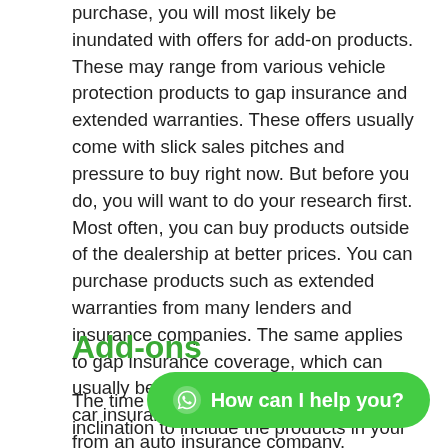purchase, you will most likely be inundated with offers for add-on products. These may range from various vehicle protection products to gap insurance and extended warranties. These offers usually come with slick sales pitches and pressure to buy right now. But before you do, you will want to do your research first. Most often, you can buy products outside of the dealership at better prices. You can purchase products such as extended warranties from many lenders and insurance companies. The same applies to gap insurance coverage, which can usually be packaged with the rest of the car insurance coverage you purchase from an auto insurance company.
Add-ons
The time pressure may increase your inclination to include the products in your car's
[Figure (other): WhatsApp chat button with label 'How can I help you?']